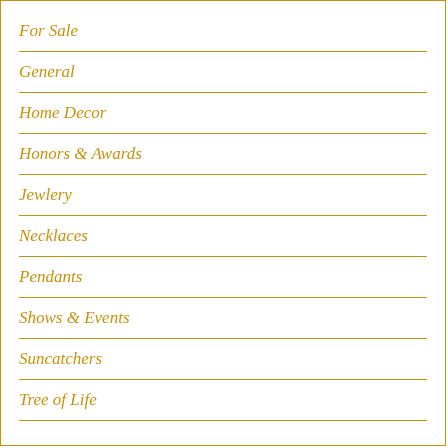For Sale
General
Home Decor
Honors & Awards
Jewlery
Necklaces
Pendants
Shows & Events
Suncatchers
Tree of Life